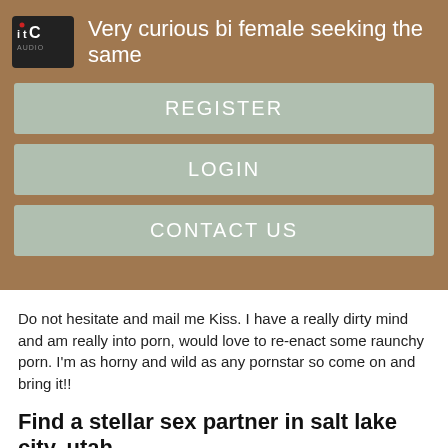[Figure (logo): ITC Audio logo — stylized letters 'itC' with a red dot, white text on dark background]
Very curious bi female seeking the same
REGISTER
LOGIN
CONTACT US
Do not hesitate and mail me Kiss. I have a really dirty mind and am really into porn, would love to re-enact some raunchy porn. I'm as horny and wild as any pornstar so come on and bring it!!
Find a stellar sex partner in salt lake city, utah
Husband is totally straight. We are looking for a couple or bi lady for us to play with especially me f. We love oral and can be very kinky.* Im seeking a good looking man for some fun times